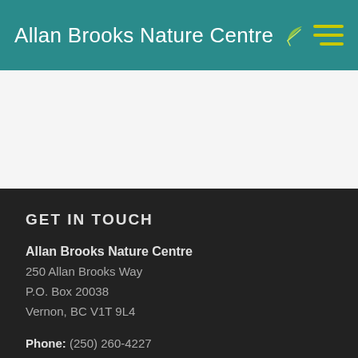Allan Brooks Nature Centre
GET IN TOUCH
Allan Brooks Nature Centre
250 Allan Brooks Way
P.O. Box 20038
Vernon, BC V1T 9L4
Phone: (250) 260-4227
Email: info@abnc.ca